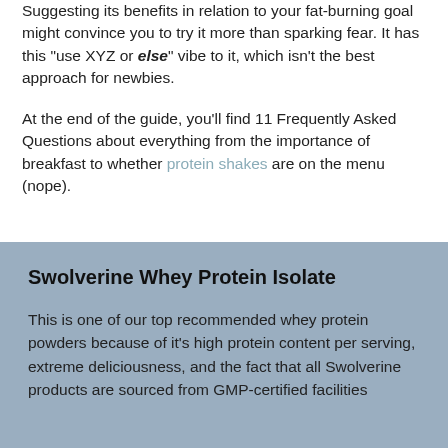Suggesting its benefits in relation to your fat-burning goal might convince you to try it more than sparking fear. It has this "use XYZ or else" vibe to it, which isn't the best approach for newbies.
At the end of the guide, you'll find 11 Frequently Asked Questions about everything from the importance of breakfast to whether protein shakes are on the menu (nope).
Swolverine Whey Protein Isolate
This is one of our top recommended whey protein powders because of it's high protein content per serving, extreme deliciousness, and the fact that all Swolverine products are sourced from GMP-certified facilities